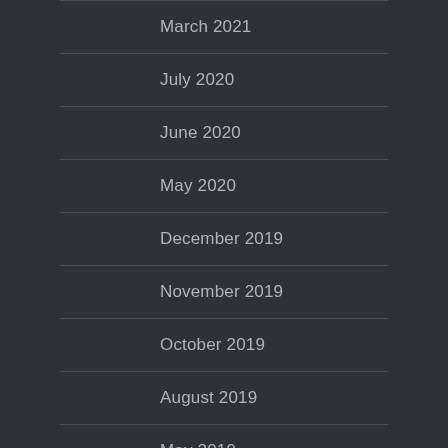March 2021
July 2020
June 2020
May 2020
December 2019
November 2019
October 2019
August 2019
May 2019
January 2019
November 2018